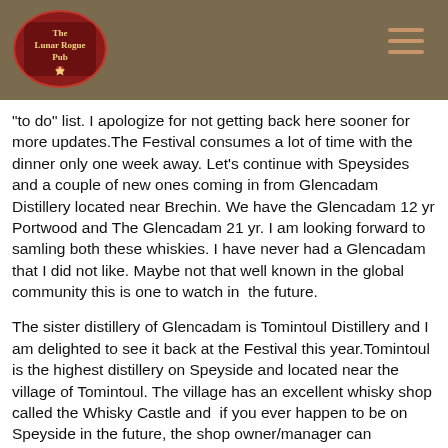The Lunar Rogue Pub
"to do" list. I apologize for not getting back here sooner for more updates.The Festival consumes a lot of time with the dinner only one week away. Let's continue with Speysides and a couple of new ones coming in from Glencadam Distillery located near Brechin. We have the Glencadam 12 yr Portwood and The Glencadam 21 yr. I am looking forward to samling both these whiskies. I have never had a Glencadam that I did not like. Maybe not that well known in the global community this is one to watch in  the future.
The sister distillery of Glencadam is Tomintoul Distillery and I am delighted to see it back at the Festival this year.Tomintoul is the highest distillery on Speyside and located near the village of Tomintoul. The village has an excellent whisky shop called the Whisky Castle and  if you ever happen to be on Speyside in the future, the shop owner/manager can sometimes organize tours of Tomintoul (not usually open to visitors) and many insiders consider it one of the